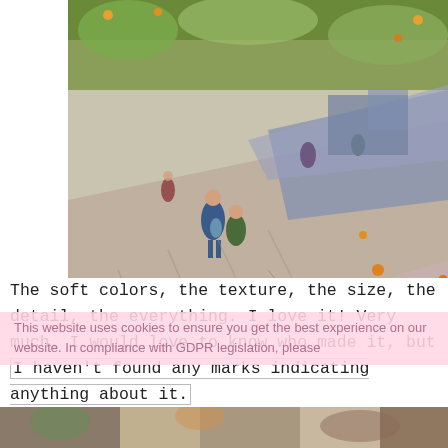[Figure (photo): Close-up photograph of an embroidery or needlework piece depicting figures walking along a promenade or street, with colorful stitching in greens, blues, yellows, and pinks on a light fabric background, styled after a Van Gogh-like scene.]
This website uses cookies to ensure you get the best experience on our website. In compliance with GDPR legislation, please
The soft colors, the texture, the size, the detail, the everything. I love it! Very much. I would love to know who made it, but I haven't found any marks indicating anything about it.
[Figure (photo): Partial bottom strip of another photograph showing a colorful embroidery or textile artwork.]